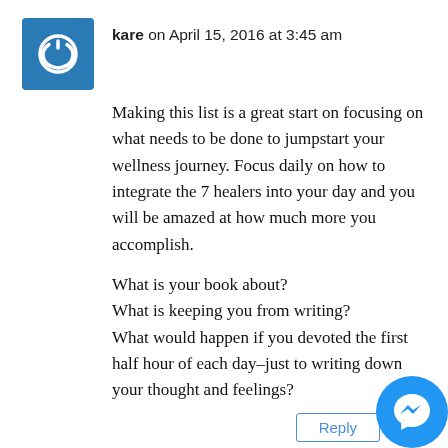kare on April 15, 2016 at 3:45 am
Making this list is a great start on focusing on what needs to be done to jumpstart your wellness journey. Focus daily on how to integrate the 7 healers into your day and you will be amazed at how much more you accomplish.
What is your book about?
What is keeping you from writing?
What would happen if you devoted the first half hour of each day–just to writing down your thought and feelings?